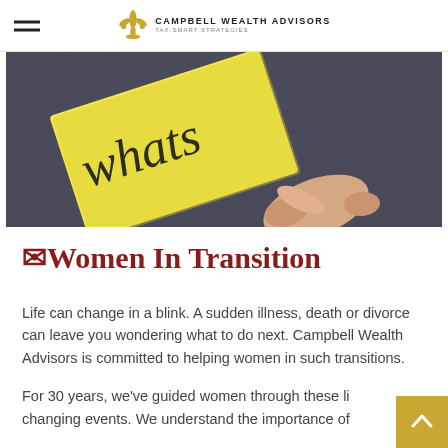Campbell Wealth Advisors — Tax-Smart Strategies
[Figure (photo): Close-up photo of a hand holding a yellow sticky note with the word 'whats' written in cursive, against a dark fabric background]
👩‍Women In Transition
Life can change in a blink. A sudden illness, death or divorce can leave you wondering what to do next. Campbell Wealth Advisors is committed to helping women in such transitions.
For 30 years, we've guided women through these life changing events. We understand the importance of